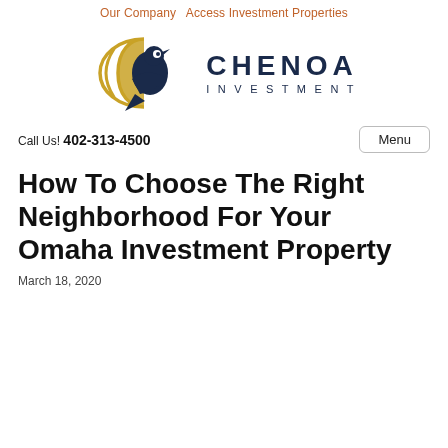Our Company   Access Investment Properties
[Figure (logo): Chenoa Investment logo: a stylized bird/dove inside a golden crescent moon circle, with dark navy color scheme, and the text CHENOA INVESTMENT to the right]
Call Us! 402-313-4500
How To Choose The Right Neighborhood For Your Omaha Investment Property
March 18, 2020